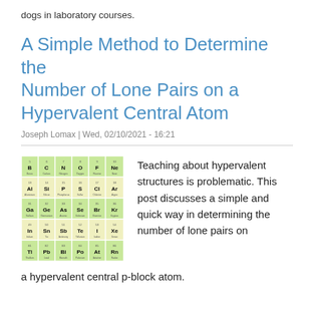dogs in laboratory courses.
A Simple Method to Determine the Number of Lone Pairs on a Hypervalent Central Atom
Joseph Lomax | Wed, 02/10/2021 - 16:21
[Figure (illustration): Partial periodic table showing p-block elements (groups IIIA-VIIIA/0) with color-coded sections: yellow-green for period 2 (B,C,N,O,F,Ne), light yellow for period 3 (Al,Si,P,S,Cl,Ar), light green for period 4 (Ga,Ge,As,Se,Br,Kr), light yellow for period 5 (In,Sn,Sb,Te,I,Xe), and light green for period 6 (Tl,Pb,Bi,Po,At,Rn).]
Teaching about hypervalent structures is problematic. This post discusses a simple and quick way in determining the number of lone pairs on a hypervalent central p-block atom.